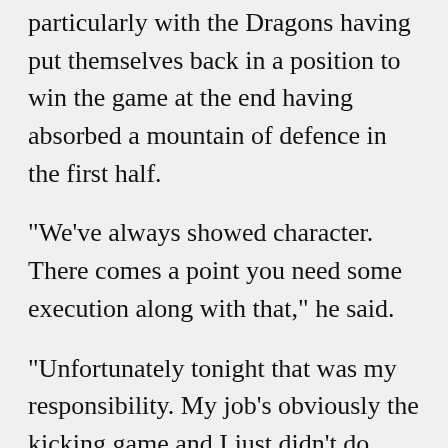…was a disappointing close, particularly with the Dragons having put themselves back in a position to win the game at the end having absorbed a mountain of defence in the first half.
"We've always showed character. There comes a point you need some execution along with that," he said.
"Unfortunately tonight that was my responsibility. My job's obviously the kicking game and I just didn't do good enough with that."
Marshall handled the bulk of attacking kicks